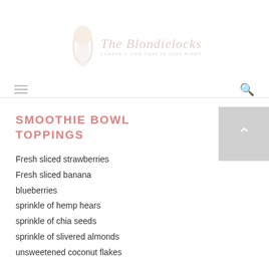[Figure (logo): The Blondielocks blog logo with illustrated woman figure and cursive text 'The Blondielocks' and tagline 'CURATE A LIFE THAT IS JUST RIGHT']
SMOOTHIE BOWL TOPPINGS
Fresh sliced strawberries
Fresh sliced banana
blueberries
sprinkle of hemp hears
sprinkle of chia seeds
sprinkle of slivered almonds
unsweetened coconut flakes